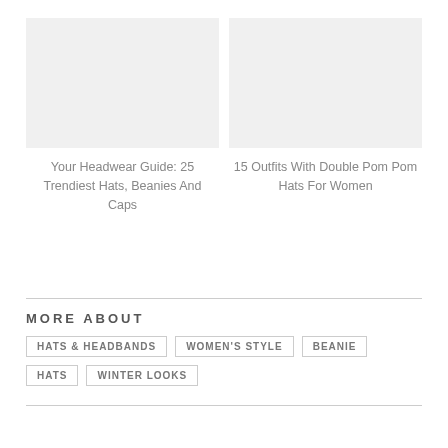[Figure (illustration): Placeholder image for headwear guide article]
Your Headwear Guide: 25 Trendiest Hats, Beanies And Caps
[Figure (illustration): Placeholder image for double pom pom hats article]
15 Outfits With Double Pom Pom Hats For Women
MORE ABOUT
HATS & HEADBANDS
WOMEN'S STYLE
BEANIE
HATS
WINTER LOOKS